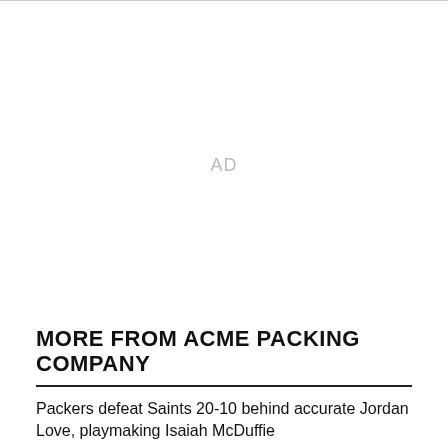[Figure (other): Advertisement placeholder area with 'AD' label in light gray]
MORE FROM ACME PACKING COMPANY
Packers defeat Saints 20-10 behind accurate Jordan Love, playmaking Isaiah McDuffie
Packers vs. Saints Preseason Week 2 Game Thread